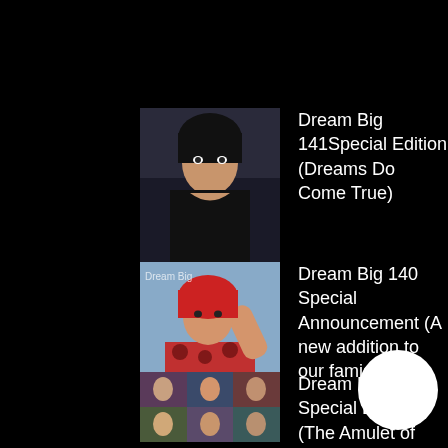[Figure (photo): Photo of a woman with dark hair wearing a black top, at what appears to be a convention or event]
Dream Big 141Special Edition (Dreams Do Come True)
[Figure (photo): Photo of a woman in a red and blue floral outfit, possibly at a performance or event, with 'Dream Big' text visible]
Dream Big 140 Special Announcement (A new addition to our famiglia.)
[Figure (photo): Collage or group photo of multiple people]
Dream Big 139 Special Edition (The Amulet of Elements Book Trailer)